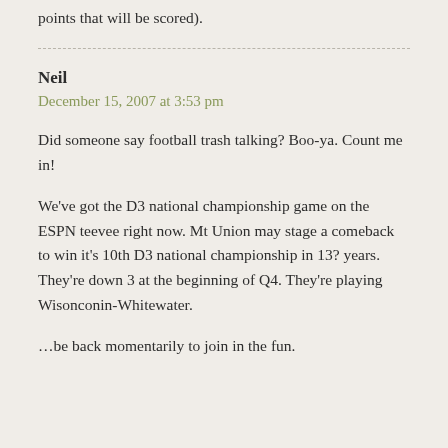points that will be scored).
Neil
December 15, 2007 at 3:53 pm
Did someone say football trash talking? Boo-ya. Count me in!
We've got the D3 national championship game on the ESPN teevee right now. Mt Union may stage a comeback to win it's 10th D3 national championship in 13? years. They're down 3 at the beginning of Q4. They're playing Wisonconin-Whitewater.
…be back momentarily to join in the fun.